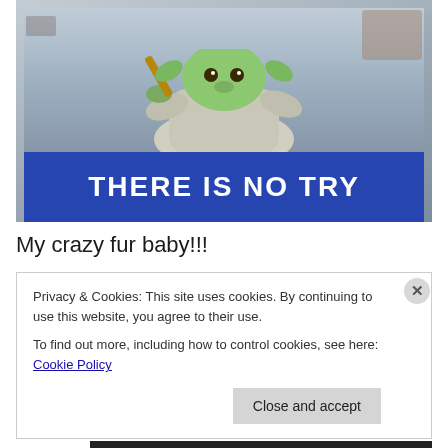[Figure (photo): A framed poster photo of Yoda from Star Wars holding a baseball bat, with a blue banner at the bottom reading 'THERE IS NO TRY' in large white bold letters.]
My crazy fur baby!!!
Privacy & Cookies: This site uses cookies. By continuing to use this website, you agree to their use.
To find out more, including how to control cookies, see here: Cookie Policy
Close and accept